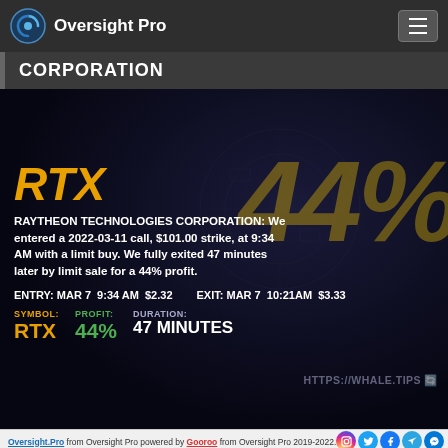Oversight Pro
CORPORATION
[Figure (infographic): Dark trading card for RTX (Raytheon Technologies Corporation) showing 44% profit. Entry: MAR 7 9:34 AM $2.32, Exit: MAR 7 10:21AM $3.33. Symbol: RTX, Profit: 44%, Duration: 47 MINUTES. Background features large watermark '44%' in gold.]
RAYTHEON TECHNOLOGIES CORPORATION: We entered a 2022-03-11 call, $101.00 strike, at 9:34 AM with a limit buy. We fully exited 47 minutes later by limit sale for a 44% profit.
ENTRY: MAR 7  9:34 AM  $2.32      EXIT: MAR 7  10:21AM  $3.33
SYMBOL: RTX   PROFIT: 44%   DURATION: 47 MINUTES
Oversight.Pro from Oversight Pro powered by Gooroo from Oversight Pro 2019-2022.